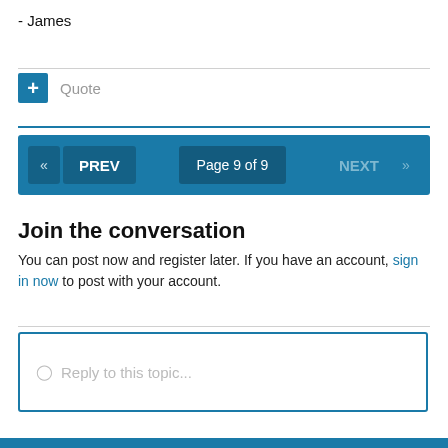- James
Quote
[Figure (screenshot): Forum navigation bar with PREV button, Page 9 of 9, and NEXT button on blue background]
Join the conversation
You can post now and register later. If you have an account, sign in now to post with your account.
Reply to this topic...